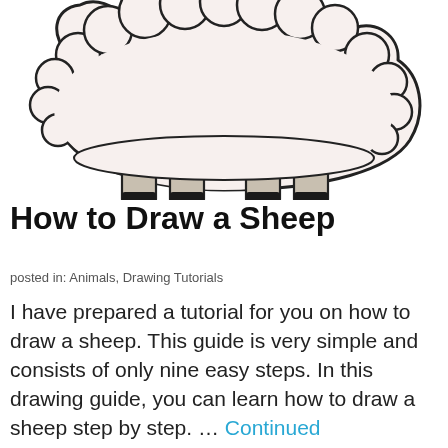[Figure (illustration): A cartoon drawing of a sheep viewed from behind, showing a large fluffy white wool body with a bumpy cloud-like outline, four beige/tan legs with dark black hooves, on a white background.]
How to Draw a Sheep
posted in: Animals, Drawing Tutorials
I have prepared a tutorial for you on how to draw a sheep. This guide is very simple and consists of only nine easy steps. In this drawing guide, you can learn how to draw a sheep step by step. … Continued